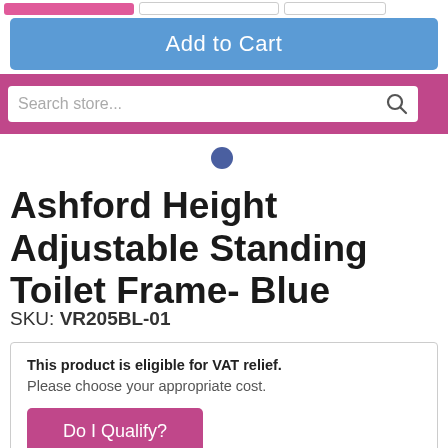[Figure (screenshot): Top UI area showing pink button, two outline buttons, a blue 'Add to Cart' button, a magenta search bar with placeholder 'Search store...' and search icon, and a blue navigation dot.]
Ashford Height Adjustable Standing Toilet Frame- Blue
SKU: VR205BL-01
This product is eligible for VAT relief. Please choose your appropriate cost.
Do I Qualify?